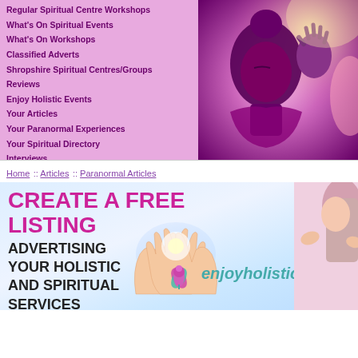Regular Spiritual Centre Workshops
What's On Spiritual Events
What's On Workshops
Classified Adverts
Shropshire Spiritual Centres/Groups
Reviews
Enjoy Holistic Events
Your Articles
Your Paranormal Experiences
Your Spiritual Directory
Interviews
[Figure (photo): Purple-toned image of a Buddha statue with hands visible]
Home :: Articles :: Paranormal Articles
[Figure (infographic): Promotional banner: CREATE A FREE LISTING — ADVERTISING YOUR HOLISTIC AND SPIRITUAL SERVICES — enjoyholistic. With hands raised and lotus/person logo.]